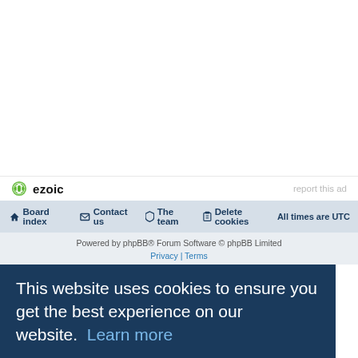[Figure (logo): Ezoic logo with green circle icon and bold 'ezoic' text, alongside 'report this ad' link]
Board index   Contact us   The team   Delete cookies   All times are UTC
Powered by phpBB® Forum Software © phpBB Limited
Privacy | Terms
This website uses cookies to ensure you get the best experience on our website.  Learn more